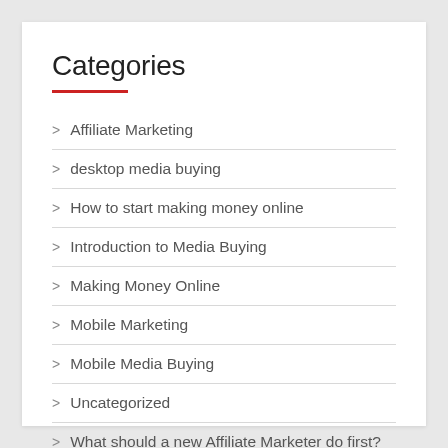Categories
Affiliate Marketing
desktop media buying
How to start making money online
Introduction to Media Buying
Making Money Online
Mobile Marketing
Mobile Media Buying
Uncategorized
What should a new Affiliate Marketer do first?